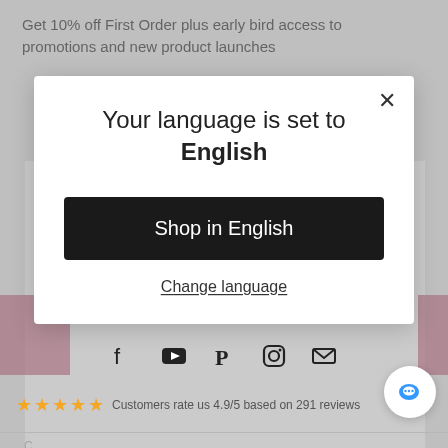Get 10% off First Order plus early bird access to promotions and new product launches
[Figure (screenshot): E-commerce language selection modal dialog overlaid on a webpage. Modal says 'Your language is set to English' with a black 'Shop in English' button and a 'Change language' link. Background shows social media icons and a star rating bar saying 'Customers rate us 4.9/5 based on 291 reviews'. A chat bubble icon is in the bottom right.]
Customers rate us 4.9/5 based on 291 reviews